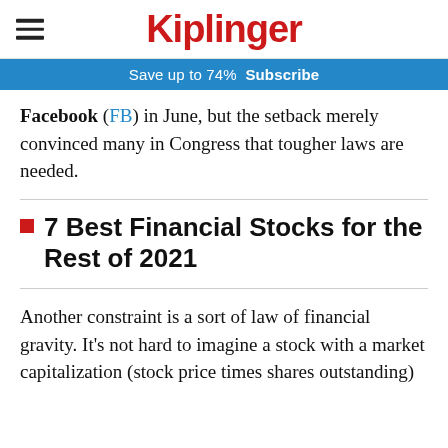[Figure (logo): Kiplinger logo with hamburger menu icon]
Save up to 74%  Subscribe
Facebook (FB) in June, but the setback merely convinced many in Congress that tougher laws are needed.
7 Best Financial Stocks for the Rest of 2021
Another constraint is a sort of law of financial gravity. It's not hard to imagine a stock with a market capitalization (stock price times shares outstanding)